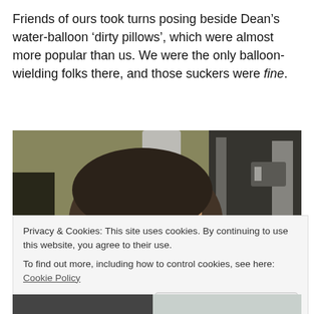Friends of ours took turns posing beside Dean’s water-balloon ‘dirty pillows’, which were almost more popular than us. We were the only balloon-wielding folks there, and those suckers were fine.
[Figure (photo): Blurry photo showing the top of a person's dark-haired head against an olive/brown background with some dark objects in the upper right.]
Privacy & Cookies: This site uses cookies. By continuing to use this website, you agree to their use.
To find out more, including how to control cookies, see here: Cookie Policy
Close and accept
[Figure (photo): Partial bottom strip of another photo, mostly dark tones.]